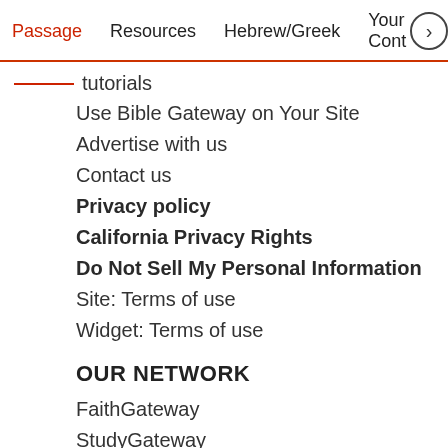Passage  Resources  Hebrew/Greek  Your Cont >
tutorials
Use Bible Gateway on Your Site
Advertise with us
Contact us
Privacy policy
California Privacy Rights
Do Not Sell My Personal Information
Site: Terms of use
Widget: Terms of use
OUR NETWORK
FaithGateway
StudyGateway
ChurchSource